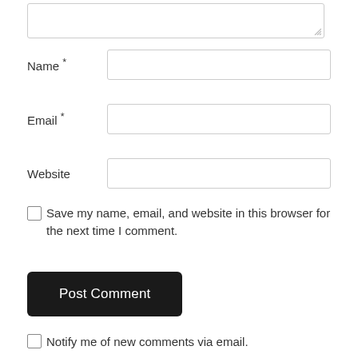[textarea - comment field]
Name *
Email *
Website
Save my name, email, and website in this browser for the next time I comment.
Post Comment
Notify me of new comments via email.